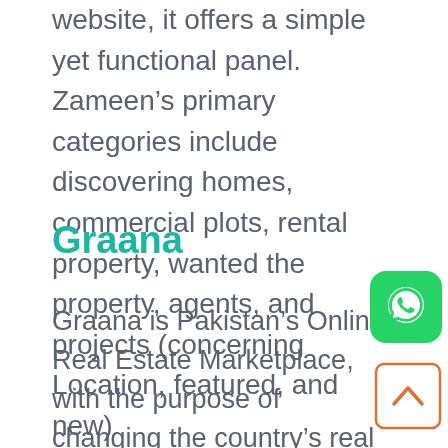website, it offers a simple yet functional panel. Zameen’s primary categories include discovering homes, commercial plots, rental property, wanted the property, agents, and projects (concerning Location, featured, and new)
Graana
Graana is Pakistan’s Online Real Estate Marketplace, with the purpose of changing the country’s real estate environment. They wished to make an impact in Pakistan’s real estate sector. Quality, they believe, is more essential than quantity. They’ve created a clear and useful portal to let people buy, rent, sell and invest in real estate. Graana.com is a one-stop shop for all of your real estate requirements.